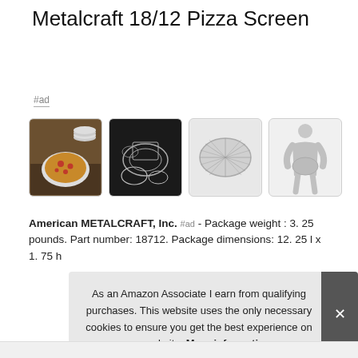Metalcraft 18/12 Pizza Screen
#ad
[Figure (photo): Four product thumbnail images showing the Metalcraft pizza screen: 1) pizza on screen in restaurant setting, 2) multiple screens on dark background, 3) single mesh screen on white background, 4) size comparison with human silhouette]
American METALCRAFT, Inc. #ad - Package weight : 3. 25 pounds. Part number: 18712. Package dimensions: 12. 25 l x 1. 75 h
As an Amazon Associate I earn from qualifying purchases. This website uses the only necessary cookies to ensure you get the best experience on our website. More information